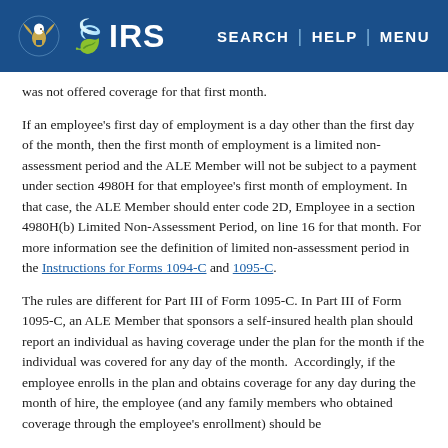IRS — SEARCH | HELP | MENU
was not offered coverage for that first month.
If an employee's first day of employment is a day other than the first day of the month, then the first month of employment is a limited non-assessment period and the ALE Member will not be subject to a payment under section 4980H for that employee's first month of employment. In that case, the ALE Member should enter code 2D, Employee in a section 4980H(b) Limited Non-Assessment Period, on line 16 for that month. For more information see the definition of limited non-assessment period in the Instructions for Forms 1094-C and 1095-C.
The rules are different for Part III of Form 1095-C. In Part III of Form 1095-C, an ALE Member that sponsors a self-insured health plan should report an individual as having coverage under the plan for the month if the individual was covered for any day of the month.  Accordingly, if the employee enrolls in the plan and obtains coverage for any day during the month of hire, the employee (and any family members who obtained coverage through the employee's enrollment) should be